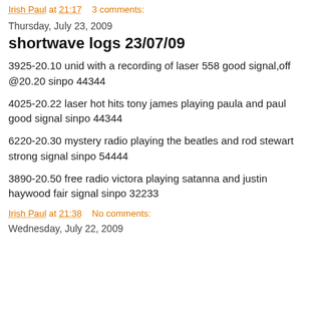Irish Paul at 21:17    3 comments:
Thursday, July 23, 2009
shortwave logs 23/07/09
3925-20.10 unid with a recording of laser 558 good signal,off @20.20 sinpo 44344
4025-20.22 laser hot hits tony james playing paula and paul good signal sinpo 44344
6220-20.30 mystery radio playing the beatles and rod stewart strong signal sinpo 54444
3890-20.50 free radio victora playing satanna and justin haywood fair signal sinpo 32233
Irish Paul at 21:38    No comments:
Wednesday, July 22, 2009